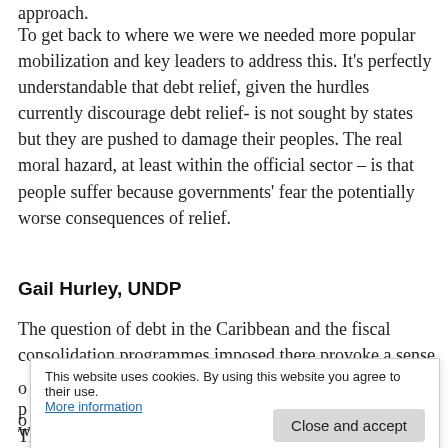approach.
To get back to where we were we needed more popular mobilization and key leaders to address this. It’s perfectly understandable that debt relief, given the hurdles currently discourage debt relief- is not sought by states but they are pushed to damage their peoples. The real moral hazard, at least within the official sector – is that people suffer because governments’ fear the potentially worse consequences of relief.
Gail Hurley, UNDP
The question of debt in the Caribbean and the fiscal consolidation programmes imposed there provoke a sense of...
This website uses cookies. By using this website you agree to their use. More information
The situation is bleaker in Jamaica, with a much higher debt